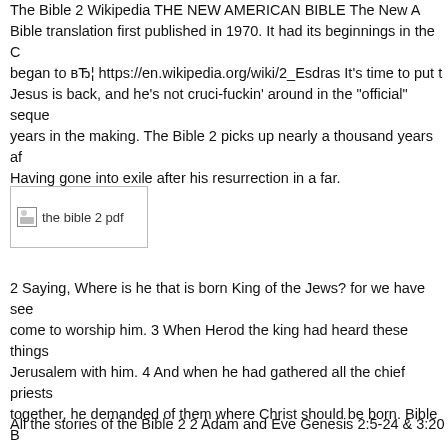The Bible 2 Wikipedia THE NEW AMERICAN BIBLE The New American Bible translation first published in 1970. It had its beginnings in the C began to вЂ¦ https://en.wikipedia.org/wiki/2_Esdras It's time to put t Jesus is back, and he's not cruci-fuckin' around in the "official" seque years in the making. The Bible 2 picks up nearly a thousand years af Having gone into exile after his resurrection in a far.
[Figure (photo): Broken image placeholder labeled 'the bible 2 pdf']
2 Saying, Where is he that is born King of the Jews? for we have see come to worship him. 3 When Herod the king had heard these things Jerusalem with him. 4 And when he had gathered all the chief priests together, he demanded of them where Christ should be born. Bible B Workbook How Did We Get The Bible? Study Guide The table belo guide to help familiarize yourself with the Bible -its separate books, book, and the dates each book was written. You may wish to refer to
All the stories of the Bible 2 2 Adam and Eve Genesis 2:5-24 & 3:20